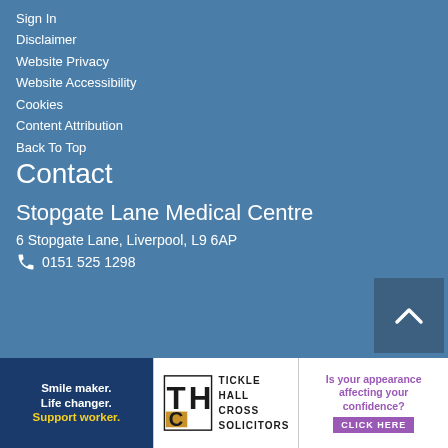Sign In
Disclaimer
Website Privacy
Website Accessibility
Cookies
Content Attribution
Back To Top
Contact
Stopgate Lane Medical Centre
6 Stopgate Lane, Liverpool, L9 6AP
0151 525 1298
[Figure (illustration): Back to top button with upward chevron arrow]
[Figure (illustration): Advertisement: Smile maker. Life changer. Support worker.]
[Figure (logo): Tickle Hall Cross Solicitors logo with THC initials]
[Figure (illustration): Advertisement: Is your appearance affecting your confidence? Click here]